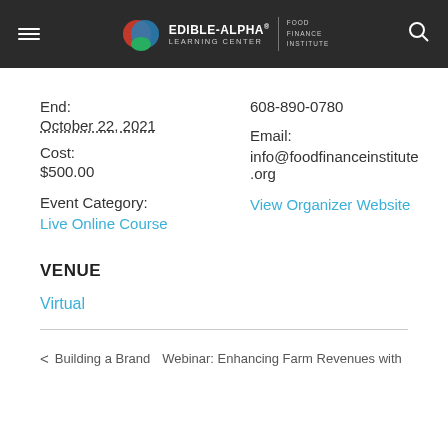Edible-Alpha Learning Center | Food Finance Institute
End:
608-890-0780
October 22, 2021
Email:
Cost:
info@foodfinanceinstitute.org
$500.00
View Organizer Website
Event Category:
Live Online Course
VENUE
Virtual
< Building a Brand   Webinar: Enhancing Farm Revenues with